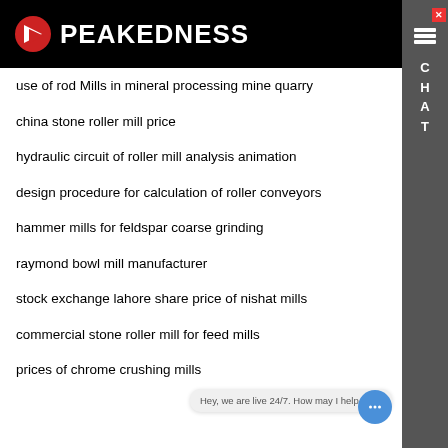PEAKEDNESS
use of rod Mills in mineral processing mine quarry
china stone roller mill price
hydraulic circuit of roller mill analysis animation
design procedure for calculation of roller conveyors
hammer mills for feldspar coarse grinding
raymond bowl mill manufacturer
stock exchange lahore share price of nishat mills
commercial stone roller mill for feed mills
prices of chrome crushing mills